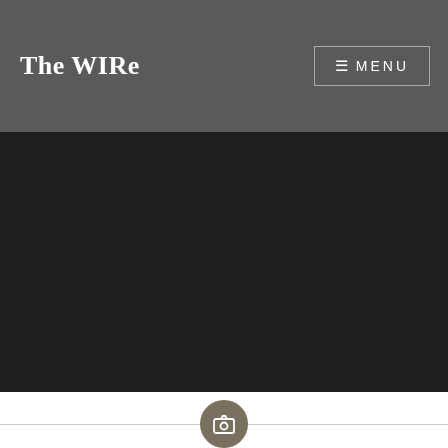The WIRe
≡ MENU
[Figure (photo): Dark hero image area, nearly black background filling the main content area below the navigation header]
[Figure (illustration): Horizontal divider line with a circular camera icon centered on it, gray color scheme on white background]